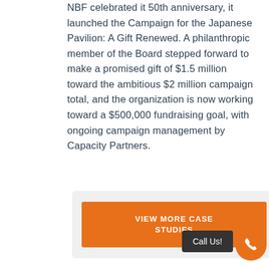NBF celebrated it 50th anniversary, it launched the Campaign for the Japanese Pavilion: A Gift Renewed. A philanthropic member of the Board stepped forward to make a promised gift of $1.5 million toward the ambitious $2 million campaign total, and the organization is now working toward a $500,000 fundraising goal, with ongoing campaign management by Capacity Partners.
VIEW MORE CASE STUDIES
Call Us!